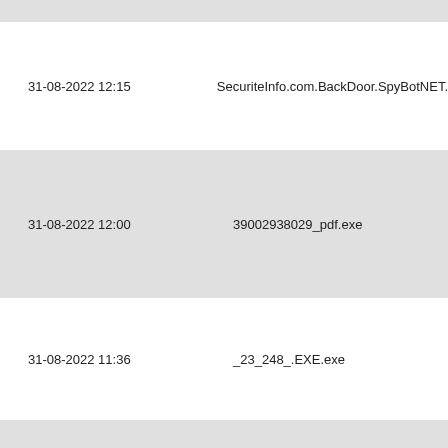| Date | Name |
| --- | --- |
| 31-08-2022 12:15 | SecuriteInfo.com.BackDoor.SpyBotNET. |
| 31-08-2022 12:00 | 39002938029_pdf.exe |
| 31-08-2022 11:36 | _23_248_.EXE.exe |
|  |  |